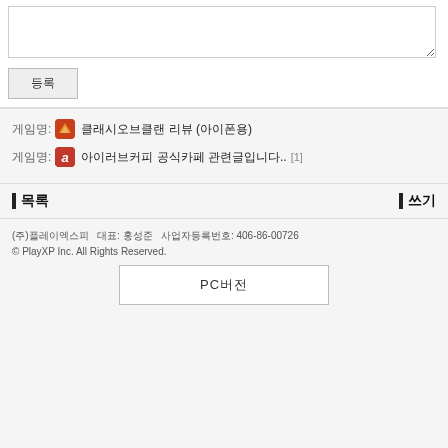[Figure (screenshot): Text area input box (empty comment field)]
등록
게임명: [game icon] 클래시오브클랜 리뷰 (아이폰용)
게임명: [a icon] 아이러브커피 공식카페 관련글입니다.. [1]
▌ 목록   ▌ 쓰기
(주)플레이엑스피   대표: 홍성준   사업자등록번호: 406-86-00726
© PlayXP Inc. All Rights Reserved.
PC버전